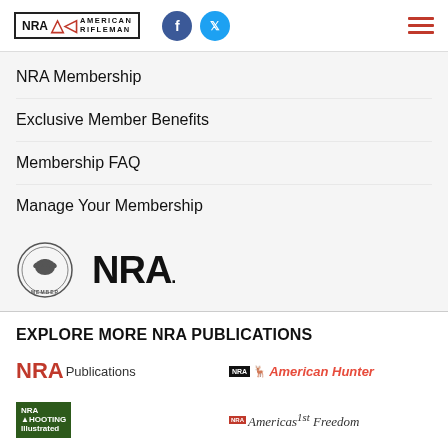NRA American Rifleman | Facebook | Twitter | Menu
NRA Membership
Exclusive Member Benefits
Membership FAQ
Manage Your Membership
[Figure (logo): NRA Member seal and NRA logo]
EXPLORE MORE NRA PUBLICATIONS
[Figure (logo): NRA Publications logo]
[Figure (logo): NRA American Hunter logo]
[Figure (logo): NRA Shooting Illustrated logo]
[Figure (logo): America's 1st Freedom logo]
[Figure (logo): NRA Women logo (partial)]
[Figure (logo): NRA Family logo (partial)]